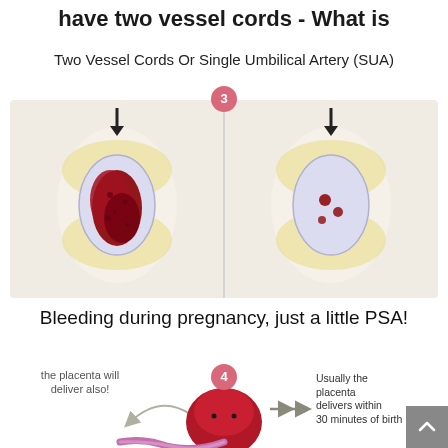have two vessel cords - What is
Two Vessel Cords Or Single Umbilical Artery (SUA)
[Figure (photo): Two side-by-side images of umbilical cord cross-section illustrations (plush/toy style). Left image shows heavy red bleeding; right shows lighter spotting. A number badge '3' appears at the center top. Arrows point down toward each image.]
Bleeding during pregnancy, just a little PSA!
[Figure (illustration): Infographic illustration showing a red plush placenta toy with text 'the placenta will deliver also!' on the left with an arrow, and 'Usually the placenta delivers within 30 minutes of birth' on the right. A number badge '4' is at the top center.]